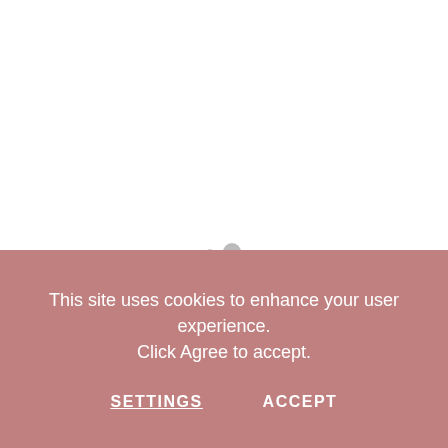[Figure (screenshot): White background area with two dots (a small grey dot and a larger grey dot) indicating a carousel or pagination indicator]
This site uses cookies to enhance your user experience. Click Agree to accept.
SETTINGS   ACCEPT